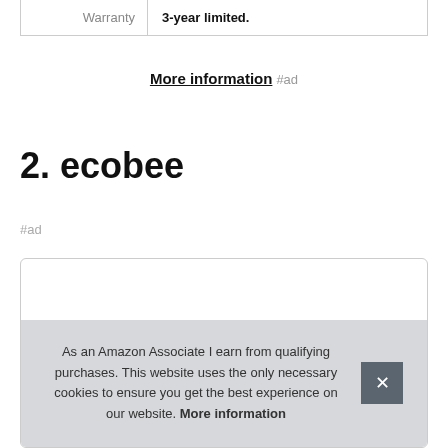| Warranty | 3-year limited. |
More information #ad
2. ecobee
#ad
As an Amazon Associate I earn from qualifying purchases. This website uses the only necessary cookies to ensure you get the best experience on our website. More information